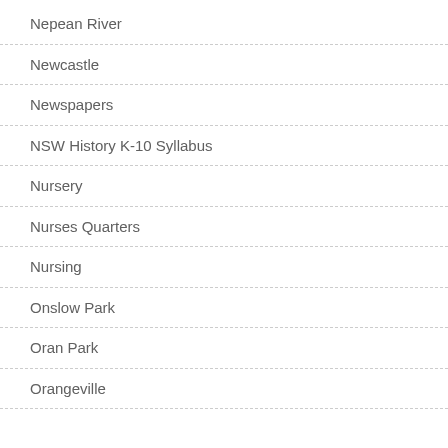Nepean River
Newcastle
Newspapers
NSW History K-10 Syllabus
Nursery
Nurses Quarters
Nursing
Onslow Park
Oran Park
Orangeville